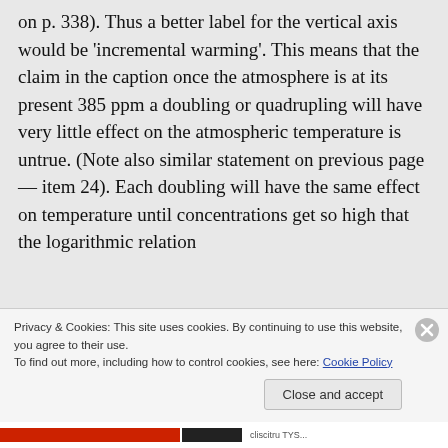on p. 338). Thus a better label for the vertical axis would be 'incremental warming'. This means that the claim in the caption once the atmosphere is at its present 385 ppm a doubling or quadrupling will have very little effect on the atmospheric temperature is untrue. (Note also similar statement on previous page — item 24). Each doubling will have the same effect on temperature until concentrations get so high that the logarithmic relation
Privacy & Cookies: This site uses cookies. By continuing to use this website, you agree to their use.
To find out more, including how to control cookies, see here: Cookie Policy